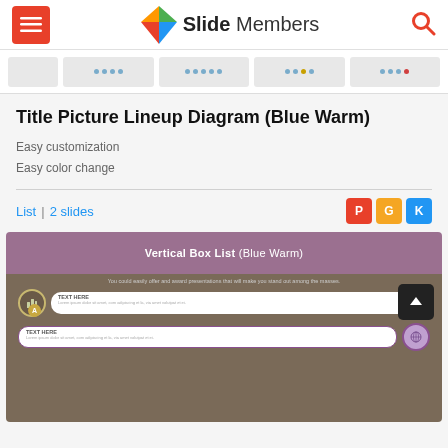Slide Members
[Figure (screenshot): Thumbnail strip showing multiple slide preview thumbnails with dot indicators]
Title Picture Lineup Diagram (Blue Warm)
Easy customization
Easy color change
List  |  2 slides
[Figure (screenshot): Preview of Vertical Box List (Blue Warm) presentation slide with purple header and dark tan body, showing two list items with icons and text boxes]